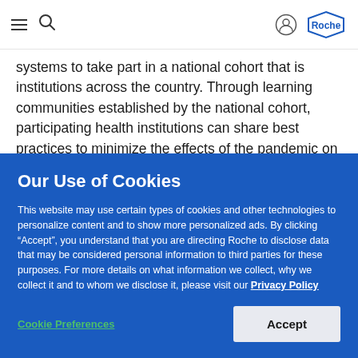Roche navigation bar with hamburger menu, search icon, user icon, and Roche logo
systems to take part in a national cohort that is institutions across the country. Through learning communities established by the national cohort, participating health institutions can share best practices to minimize the effects of the pandemic on breast, cervical and colorectal cancer screening, address healthcare disparities and reduce barriers to screening.
Our Use of Cookies
This website may use certain types of cookies and other technologies to personalize content and to show more personalized ads. By clicking “Accept”, you understand that you are directing Roche to disclose data that may be considered personal information to third parties for these purposes. For more details on what information we collect, why we collect it and to whom we disclose it, please visit our Privacy Policy
Cookie Preferences | Accept